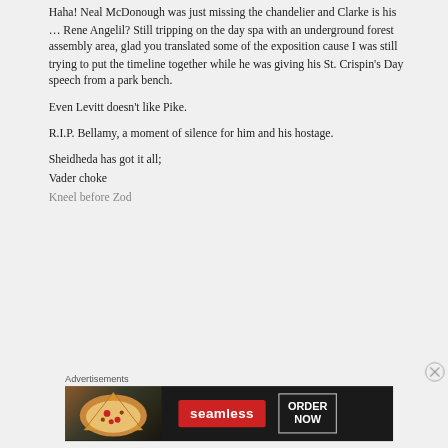Haha! Neal McDonough was just missing the chandelier and Clarke is his … Rene Angelil? Still tripping on the day spa with an underground forest assembly area, glad you translated some of the exposition cause I was still trying to put the timeline together while he was giving his St. Crispin's Day speech from a park bench.
Even Levitt doesn't like Pike.
R.I.P. Bellamy, a moment of silence for him and his hostage.
Sheidheda has got it all;
Vader choke
Kneel before Zod
Advertisements
[Figure (other): Seamless pizza advertisement banner with dark background showing pizza slices on left, red Seamless logo button in center, and ORDER NOW button on right]